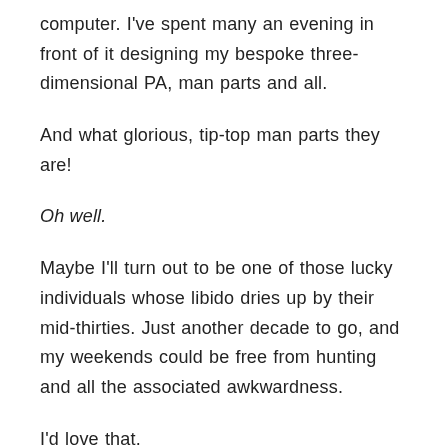computer. I've spent many an evening in front of it designing my bespoke three-dimensional PA, man parts and all.
And what glorious, tip-top man parts they are!
Oh well.
Maybe I'll turn out to be one of those lucky individuals whose libido dries up by their mid-thirties. Just another decade to go, and my weekends could be free from hunting and all the associated awkwardness.
I'd love that.